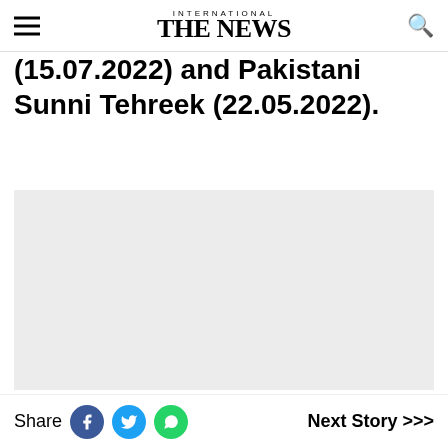INTERNATIONAL THE NEWS
(15.07.2022) and Pakistani Sunni Tehreek (22.05.2022).
[Figure (other): Light grey image placeholder block]
Share  Next Story >>>